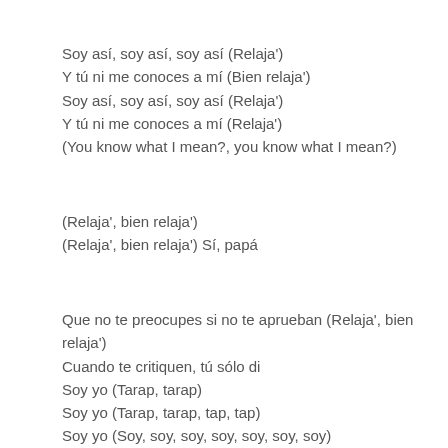Soy así, soy así, soy así (Relaja')
Y tú ni me conoces a mí (Bien relaja')
Soy así, soy así, soy así (Relaja')
Y tú ni me conoces a mí (Relaja')
(You know what I mean?, you know what I mean?)
(Relaja', bien relaja')
(Relaja', bien relaja') Sí, papá
Que no te preocupes si no te aprueban (Relaja', bien relaja')
Cuando te critiquen, tú sólo di
Soy yo (Tarap, tarap)
Soy yo (Tarap, tarap, tap, tap)
Soy yo (Soy, soy, soy, soy, soy, soy, soy)
Soy yo (Yo, yo, yo, yo, yo, yo, yo)
(Tarap, tarap) En la cama, relajada